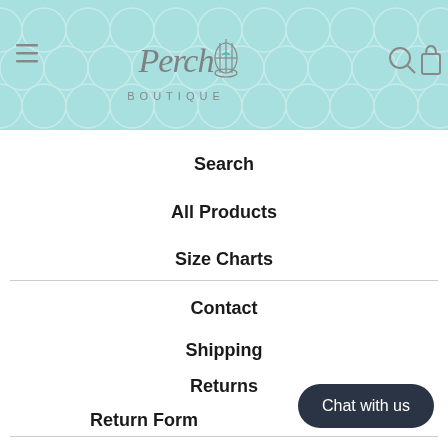[Figure (logo): Perch Boutique logo with birdcage illustration on teal quatrefoil background]
Search
All Products
Size Charts
Contact
Shipping
Returns
Return Form
Chat with us